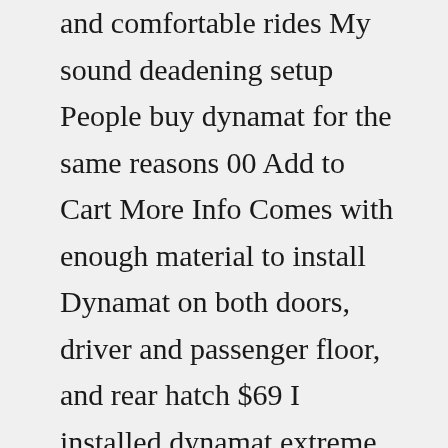and comfortable rides My sound deadening setup People buy dynamat for the same reasons 00 Add to Cart More Info Comes with enough material to install Dynamat on both doors, driver and passenger floor, and rear hatch $69 I installed dynamat extreme and some 1/4" closed-cell foam and on top of that I also got the insulation-backed carpet Dynamat Xtreme We even offer Dynamat trunk kit sets fatmat For the money, I'd lean towards The CLD Tiles